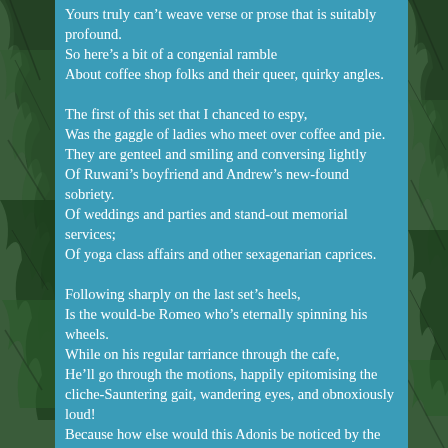[Figure (photo): Left side foliage/plant leaves photo strip]
Yours truly can't weave verse or prose that is suitably profound.
So here's a bit of a congenial ramble
About coffee shop folks and their queer, quirky angles.

The first of this set that I chanced to espy,
Was the gaggle of ladies who meet over coffee and pie.
They are genteel and smiling and conversing lightly
Of Ruwani's boyfriend and Andrew's new-found sobriety.
Of weddings and parties and stand-out memorial services;
Of yoga class affairs and other sexagenarian caprices.

Following sharply on the last set's heels,
Is the would-be Romeo who's eternally spinning his wheels.
While on his regular tarriance through the cafe,
He'll go through the motions, happily epitomising the cliche-Sauntering gait, wandering eyes, and obnoxiously loud!
Because how else would this Adonis be noticed by the
[Figure (photo): Right side foliage/plant leaves photo strip]